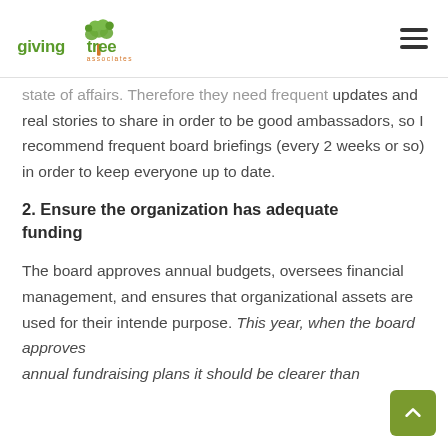giving tree associates
state of affairs. Therefore they need frequent updates and real stories to share in order to be good ambassadors, so I recommend frequent board briefings (every 2 weeks or so) in order to keep everyone up to date.
2. Ensure the organization has adequate funding
The board approves annual budgets, oversees financial management, and ensures that organizational assets are used for their intended purpose. This year, when the board approves annual fundraising plans it should be clearer than